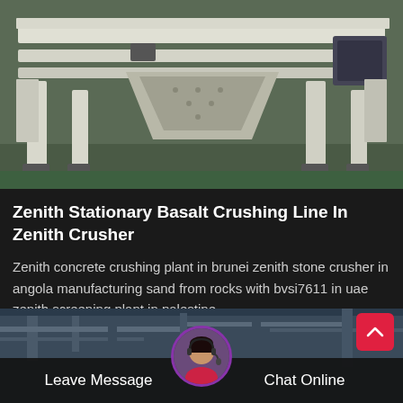[Figure (photo): Industrial crushing machine — large white metal frame vibrating screen or crusher equipment in a factory/warehouse setting with green floor]
Zenith Stationary Basalt Crushing Line In Zenith Crusher
Zenith concrete crushing plant in brunei zenith stone crusher in angola manufacturing sand from rocks with bvsi7611 in uae zenith screening plant in palestine…
[Figure (photo): Industrial facility interior — pipes and structural elements, with chat support interface overlay showing avatar of female customer service agent with headset, Leave Message and Chat Online buttons, and a red scroll-to-top button]